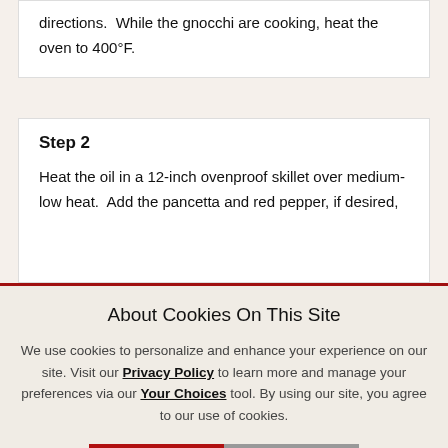directions.  While the gnocchi are cooking, heat the oven to 400°F.
Step 2
Heat the oil in a 12-inch ovenproof skillet over medium-low heat.  Add the pancetta and red pepper, if desired,
About Cookies On This Site
We use cookies to personalize and enhance your experience on our site. Visit our Privacy Policy to learn more and manage your preferences via our Your Choices tool. By using our site, you agree to our use of cookies.
I ACCEPT | OPTIONS